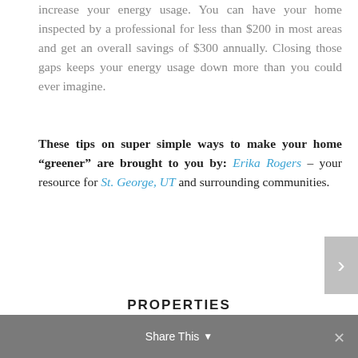increase your energy usage. You can have your home inspected by a professional for less than $200 in most areas and get an overall savings of $300 annually. Closing those gaps keeps your energy usage down more than you could ever imagine.
These tips on super simple ways to make your home “greener” are brought to you by: Erika Rogers – your resource for St. George, UT and surrounding communities.
PROPERTIES
Featured Listings
Gated Communities
Share This